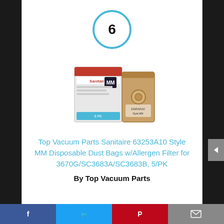[Figure (other): Circle with number 6 inside, drawn with blue border]
[Figure (photo): Product photo of Sanitaire MM style vacuum bags box (model 63253A10) next to a brown paper dust bag]
Top Vacuum Parts Sanitaire 63253A10 Style MM Disposable Dust Bags w/Allergen Filter for 3670G/SC3683A/SC3683B, 5/PK
By Top Vacuum Parts
Social share bar: Facebook, Twitter, Pinterest, Email